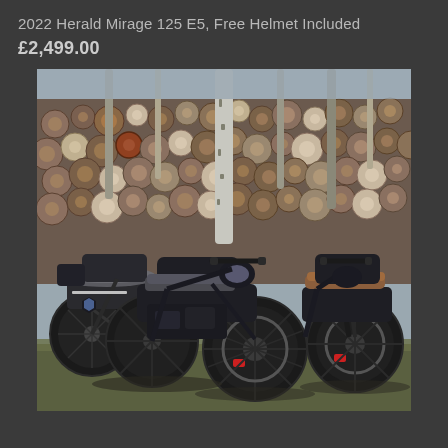2022 Herald Mirage 125 E5, Free Helmet Included
£2,499.00
[Figure (photo): Three Herald Mirage 125 E5 motorcycles parked in a row in front of a large stack of cut logs. The bikes are matte black with flat-tracker styling, one featuring an orange/tan seat. Red brake calipers are visible. The background is an overcast sky.]